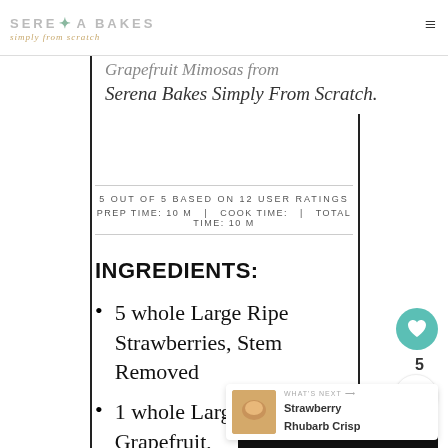SERENA BAKES simply from scratch
Grapefruit Mimosas from Serena Bakes Simply From Scratch.
5 OUT OF 5 BASED ON 12 USER RATINGS
PREP TIME: 10 M   |   COOK TIME:   |   TOTAL TIME: 10 M
INGREDIENTS:
5 whole Large Ripe Strawberries, Stem Removed
1 whole Large Pink Grapefruit, Juiced
1 tablespoon S...